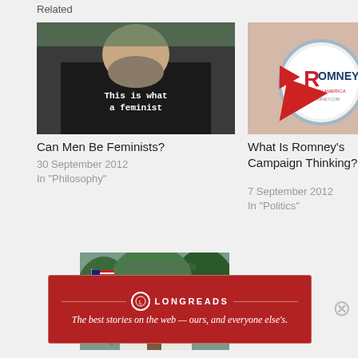Related
[Figure (photo): Man wearing a black t-shirt that reads 'This is what a feminist looks like']
Can Men Be Feminists?
30 September 2012
In "Philosophy"
[Figure (photo): Romney campaign button with red arrow pointing to it]
What Is Romney's Campaign Thinking?
7 September 2012
In "Politics"
[Figure (photo): House with American flag in front yard surrounded by trees]
Advertisements
[Figure (infographic): Longreads advertisement banner: The best stories on the web — ours, and everyone else's.]